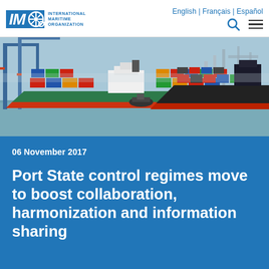English | Français | Español
[Figure (logo): IMO International Maritime Organization logo with ship wheel icon]
[Figure (photo): Container ships at a port with cranes and cargo containers in the background]
06 November 2017
Port State control regimes move to boost collaboration, harmonization and information sharing